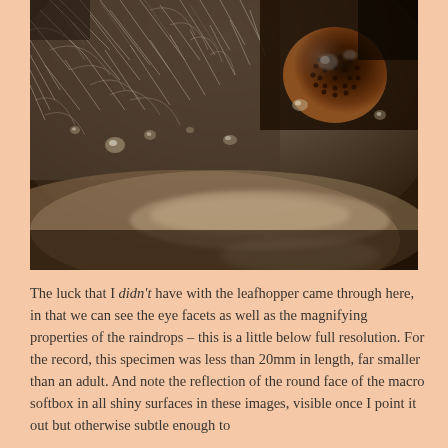[Figure (photo): Close-up macro photograph of an insect (likely a leafhopper or similar small insect) showing compound eye facets with water/raindrops visible on the surface. The image shows a brown compound eye on the upper right and fuzzy textured body parts in a dark brownish-grey tone.]
The luck that I didn't have with the leafhopper came through here, in that we can see the eye facets as well as the magnifying properties of the raindrops – this is a little below full resolution. For the record, this specimen was less than 20mm in length, far smaller than an adult. And note the reflection of the round face of the macro softbox in all shiny surfaces in these images, visible once I point it out but otherwise subtle enough to